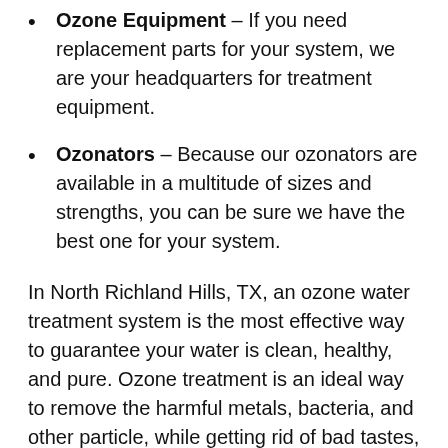Ozone Equipment – If you need replacement parts for your system, we are your headquarters for treatment equipment.
Ozonators – Because our ozonators are available in a multitude of sizes and strengths, you can be sure we have the best one for your system.
In North Richland Hills, TX, an ozone water treatment system is the most effective way to guarantee your water is clean, healthy, and pure. Ozone treatment is an ideal way to remove the harmful metals, bacteria, and other particle, while getting rid of bad tastes, odors, or colors as well. The Ozone Pure Water treatment system can also remove particles such as chlorine and other chemicals left behind by other treatment systems.